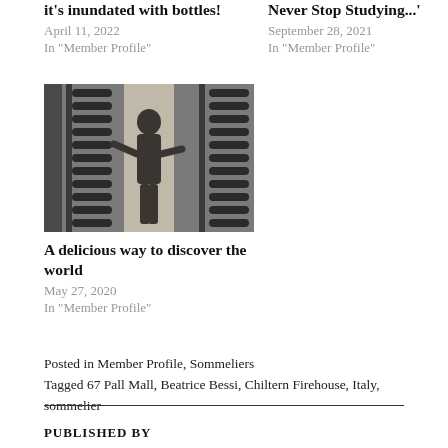it's inundated with bottles!
April 11, 2022
In "Member Profile"
Never Stop Studying...'
September 28, 2021
In "Member Profile"
[Figure (photo): Black and white photo of a person in a wine cellar reaching for bottles on tall wine racks]
A delicious way to discover the world
May 27, 2020
In "Member Profile"
Posted in Member Profile, Sommeliers
Tagged 67 Pall Mall, Beatrice Bessi, Chiltern Firehouse, Italy, sommelier
PUBLISHED BY